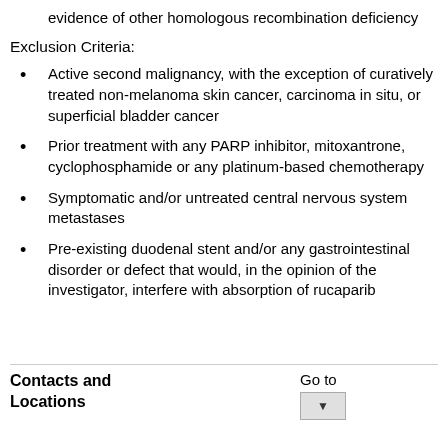evidence of other homologous recombination deficiency
Exclusion Criteria:
Active second malignancy, with the exception of curatively treated non-melanoma skin cancer, carcinoma in situ, or superficial bladder cancer
Prior treatment with any PARP inhibitor, mitoxantrone, cyclophosphamide or any platinum-based chemotherapy
Symptomatic and/or untreated central nervous system metastases
Pre-existing duodenal stent and/or any gastrointestinal disorder or defect that would, in the opinion of the investigator, interfere with absorption of rucaparib
Contacts and Locations
Go to